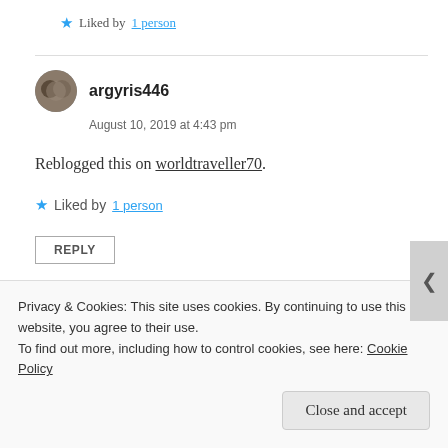★ Liked by 1 person
argyris446
August 10, 2019 at 4:43 pm
Reblogged this on worldtraveller70.
★ Liked by 1 person
REPLY
Outosego
Privacy & Cookies: This site uses cookies. By continuing to use this website, you agree to their use.
To find out more, including how to control cookies, see here: Cookie Policy
Close and accept